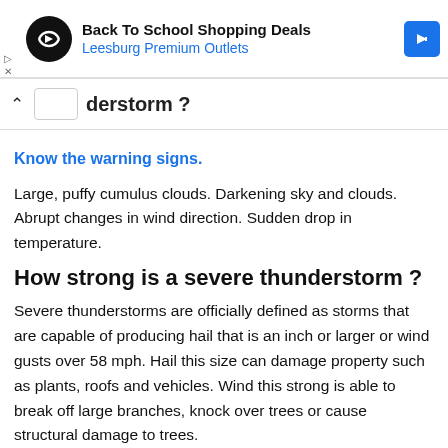[Figure (screenshot): Advertisement banner for Back To School Shopping Deals at Leesburg Premium Outlets with circular black logo and blue navigation arrow icon]
derstorm ?
Know the warning signs.
Large, puffy cumulus clouds. Darkening sky and clouds. Abrupt changes in wind direction. Sudden drop in temperature.
How strong is a severe thunderstorm ?
Severe thunderstorms are officially defined as storms that are capable of producing hail that is an inch or larger or wind gusts over 58 mph. Hail this size can damage property such as plants, roofs and vehicles. Wind this strong is able to break off large branches, knock over trees or cause structural damage to trees.